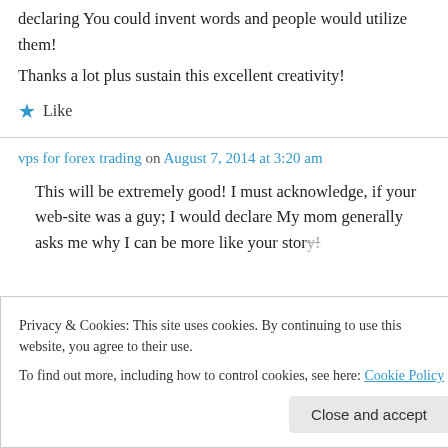declaring You could invent words and people would utilize them!
Thanks a lot plus sustain this excellent creativity!
Like
vps for forex trading on August 7, 2014 at 3:20 am
This will be extremely good! I must acknowledge, if your web-site was a guy; I would declare My mom generally asks me why I can be more like your story!
Privacy & Cookies: This site uses cookies. By continuing to use this website, you agree to their use.
To find out more, including how to control cookies, see here: Cookie Policy